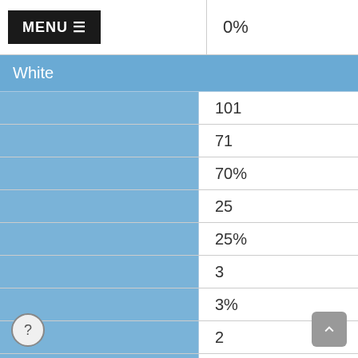MENU
0%
White
|  |  |
| --- | --- |
|  | 101 |
|  | 71 |
|  | 70% |
|  | 25 |
|  | 25% |
|  | 3 |
|  | 3% |
|  | 2 |
|  | 2% |
|  | 5 |